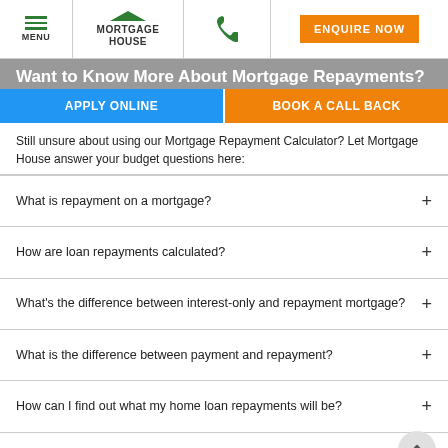MENU | MORTGAGE HOUSE | [phone icon] | ENQUIRE NOW
Want to Know More About Mortgage Repayments?
APPLY ONLINE | BOOK A CALL BACK
Still unsure about using our Mortgage Repayment Calculator? Let Mortgage House answer your budget questions here:
What is repayment on a mortgage?
How are loan repayments calculated?
What's the difference between interest-only and repayment mortgage?
What is the difference between payment and repayment?
How can I find out what my home loan repayments will be?
How do you calculate mortgage repayments?
How are monthly repayments calculated?